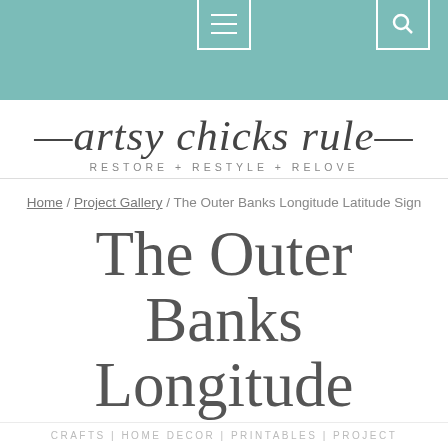artsy chicks rule — RESTORE + RESTYLE + RELOVE
Home / Project Gallery / The Outer Banks Longitude Latitude Sign
The Outer Banks Longitude Latitude Sign
CRAFTS | HOME DECOR | PRINTABLES | PROJECT GALLERY